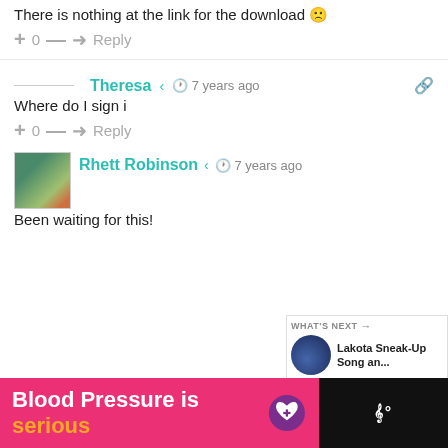There is nothing at the link for the download 🙁
+ 0 — ➜ Reply
Theresa  ≪ 🕐 7 years ago
Where do I sign i
+ 0 — ➜ Reply
Rhett Robinson  ≪ 🕐 7 years ago
Been waiting for this!
WHAT'S NEXT → Lakota Sneak-Up Song an...
[Figure (other): Pink advertisement banner: 'Blood Pressure is serious' with purple heart icon and Tidal logo]